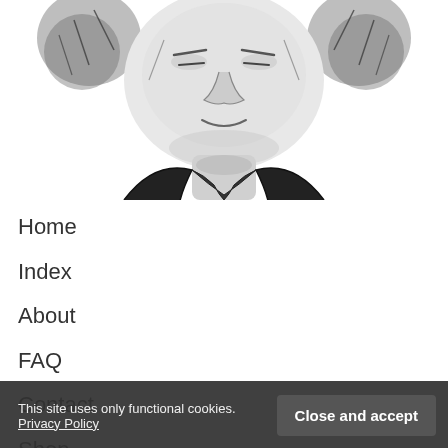[Figure (illustration): Ink sketch illustration of a person's face and upper torso, drawn in black and white with grey shading, showing a historical-style portrait with collar/cravat visible]
Home
Index
About
FAQ
Contact
Shop
This site uses only functional cookies. Privacy Policy
Close and accept